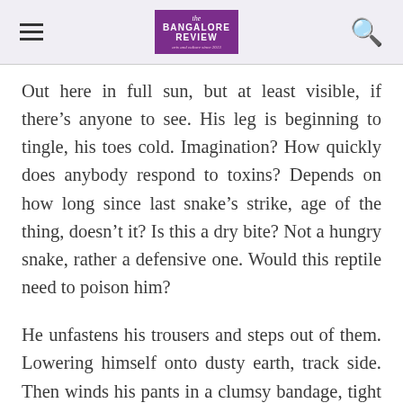The Bangalore Review
Out here in full sun, but at least visible, if there’s anyone to see. His leg is beginning to tingle, his toes cold. Imagination? How quickly does anybody respond to toxins? Depends on how long since last snake’s strike, age of the thing, doesn’t it? Is this a dry bite? Not a hungry snake, rather a defensive one. Would this reptile need to poison him?
He unfastens his trousers and steps out of them. Lowering himself onto dusty earth, track side. Then winds his pants in a clumsy bandage, tight as he can, strength vanishing,